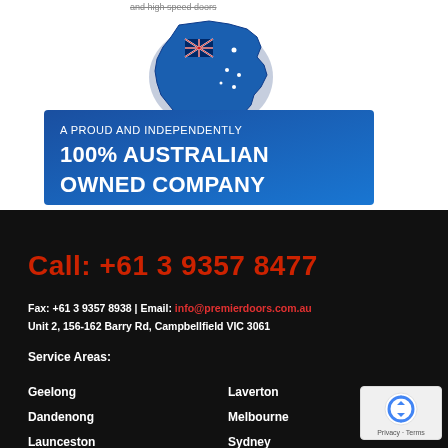and high speed doors
[Figure (logo): Australian map with flag overlay above a blue banner reading 'A PROUD AND INDEPENDENTLY 100% AUSTRALIAN OWNED COMPANY']
Call: +61 3 9357 8477
Fax: +61 3 9357 8938 | Email: info@premierdoors.com.au
Unit 2, 156-162 Barry Rd, Campbellfield VIC 3061
Service Areas:
Geelong
Laverton
Dandenong
Melbourne
Launceston
Sydney